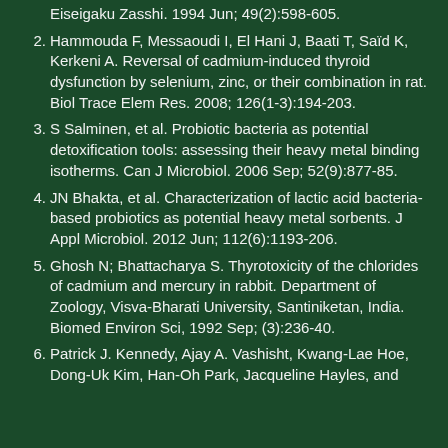Eiseigaku Zasshi. 1994 Jun; 49(2):598-605.
2. Hammouda F, Messaoudi I, El Hani J, Baati T, Saïd K, Kerkeni A. Reversal of cadmium-induced thyroid dysfunction by selenium, zinc, or their combination in rat. Biol Trace Elem Res. 2008; 126(1-3):194-203.
3. S Salminen, et al. Probiotic bacteria as potential detoxification tools: assessing their heavy metal binding isotherms. Can J Microbiol. 2006 Sep; 52(9):877-85.
4. JN Bhakta, et al. Characterization of lactic acid bacteria-based probiotics as potential heavy metal sorbents. J Appl Microbiol. 2012 Jun; 112(6):1193-206.
5. Ghosh N; Bhattacharya S. Thyrotoxicity of the chlorides of cadmium and mercury in rabbit. Department of Zoology, Visva-Bharati University, Santiniketan, India. Biomed Environ Sci, 1992 Sep; (3):236-40.
6. Patrick J. Kennedy, Ajay A. Vashisht, Kwang-Lae Hoe, Dong-Uk Kim, Han-Oh Park, Jacqueline Hayles, and